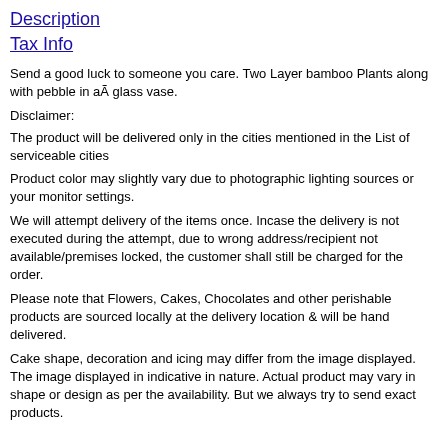Description
Tax Info
Send a good luck to someone you care. Two Layer bamboo Plants along with pebble in aÂ glass vase.
Disclaimer:
The product will be delivered only in the cities mentioned in the List of serviceable cities
Product color may slightly vary due to photographic lighting sources or your monitor settings.
We will attempt delivery of the items once. Incase the delivery is not executed during the attempt, due to wrong address/recipient not available/premises locked, the customer shall still be charged for the order.
Please note that Flowers, Cakes, Chocolates and other perishable products are sourced locally at the delivery location & will be hand delivered.
Cake shape, decoration and icing may differ from the image displayed. The image displayed in indicative in nature. Actual product may vary in shape or design as per the availability. But we always try to send exact products.